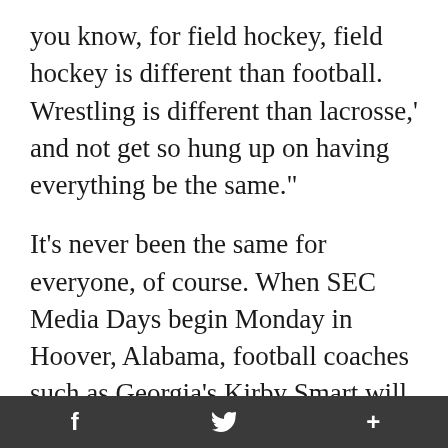you know, for field hockey, field hockey is different than football. Wrestling is different than lacrosse,' and not get so hung up on having everything be the same."
It's never been the same for everyone, of course. When SEC Media Days begin Monday in Hoover, Alabama, football coaches such as Georgia's Kirby Smart will no doubt be asked about the opulent facilities being completed on their campuses. And because of those new digs, every other school in the league will then do everything they can to keep up with the
f  🐦  +